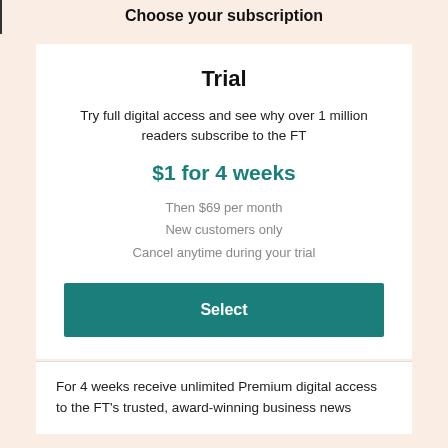Choose your subscription
Trial
Try full digital access and see why over 1 million readers subscribe to the FT
$1 for 4 weeks
Then $69 per month
New customers only
Cancel anytime during your trial
Select
For 4 weeks receive unlimited Premium digital access to the FT's trusted, award-winning business news